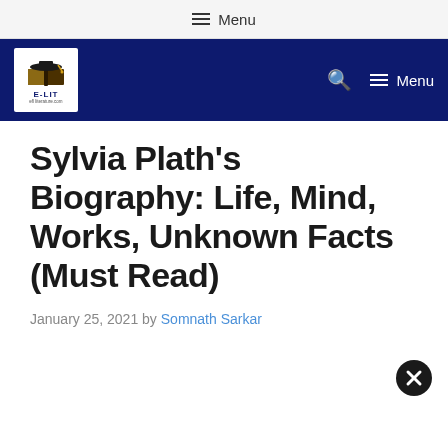☰ Menu
[Figure (logo): E-LIT educational literature website logo: graduation cap over book icon with E-LIT text, on white background, inside dark blue navigation bar]
Sylvia Plath's Biography: Life, Mind, Works, Unknown Facts (Must Read)
January 25, 2021 by Somnath Sarkar